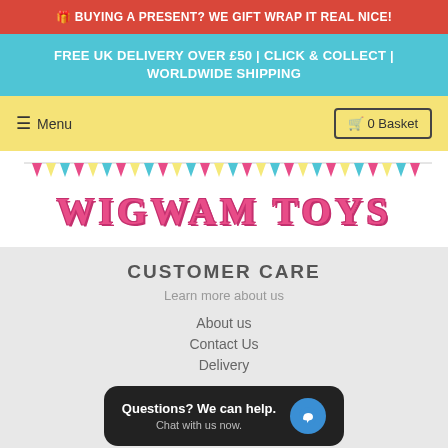🎁 BUYING A PRESENT? WE GIFT WRAP IT REAL NICE!
FREE UK DELIVERY OVER £50 | CLICK & COLLECT | WORLDWIDE SHIPPING
≡ Menu   🛒 0 Basket
[Figure (illustration): Wigwam Toys logo with colorful bunting triangles and pink stylized text 'WIGWAM TOYS']
CUSTOMER CARE
Learn more about us
About us
Contact Us
Delivery
[Figure (screenshot): Chat popup: 'Questions? We can help. Chat with us now.' with blue chat bubble icon]
Birthday Club
Customer Reviews